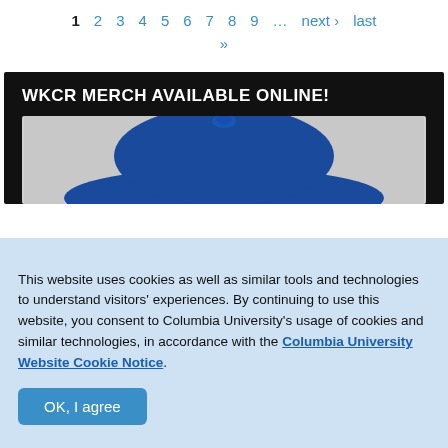1  2  3  4  5  6  7  8  9  …  next ›  last  »
[Figure (screenshot): WKCR Merch Available Online banner with a blue hat product image on dark background]
This website uses cookies as well as similar tools and technologies to understand visitors' experiences. By continuing to use this website, you consent to Columbia University's usage of cookies and similar technologies, in accordance with the Columbia University Website Cookie Notice.
OK, I agree